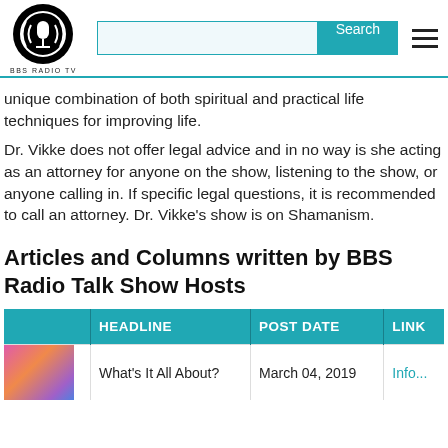[Figure (logo): BBS Radio TV logo — black circular emblem with microphone and sound waves, text 'BBS RADIO TV' below]
unique combination of both spiritual and practical life techniques for improving life.
Dr. Vikke does not offer legal advice and in no way is she acting as an attorney for anyone on the show, listening to the show, or anyone calling in. If specific legal questions, it is recommended to call an attorney. Dr. Vikke's show is on Shamanism.
Articles and Columns written by BBS Radio Talk Show Hosts
|  | HEADLINE | POST DATE | LINK |
| --- | --- | --- | --- |
| [image] | What's It All About? | March 04, 2019 | Info... |